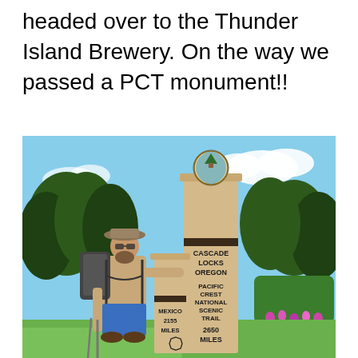headed over to the Thunder Island Brewery. On the way we passed a PCT monument!!
[Figure (photo): A hiker wearing a hat, sunglasses, and a backpack stands next to a tall wooden PCT (Pacific Crest Trail) monument post in Cascade Locks, Oregon. The monument reads: CASCADE LOCKS OREGON / PACIFIC CREST NATIONAL SCENIC TRAIL / 2650 MILES / MEXICO 2155 MILES. A PCT shield logo is mounted on the top of the post. Trees and a garden visible in the background under a blue sky.]